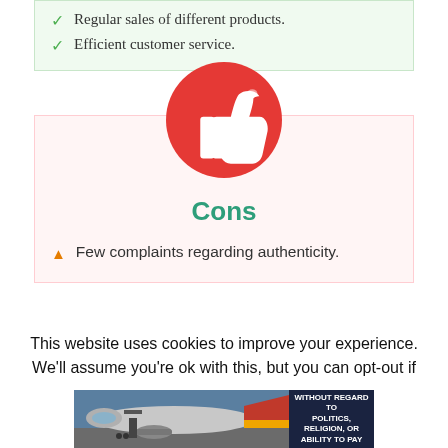Regular sales of different products.
Efficient customer service.
[Figure (illustration): Red circle with white thumbs-down icon]
Cons
Few complaints regarding authenticity.
This website uses cookies to improve your experience. We'll assume you're ok with this, but you can opt-out if
[Figure (photo): Advertisement banner showing an airplane being loaded with cargo, with a dark blue panel reading WITHOUT REGARD TO POLITICS, RELIGION, OR ABILITY TO PAY]